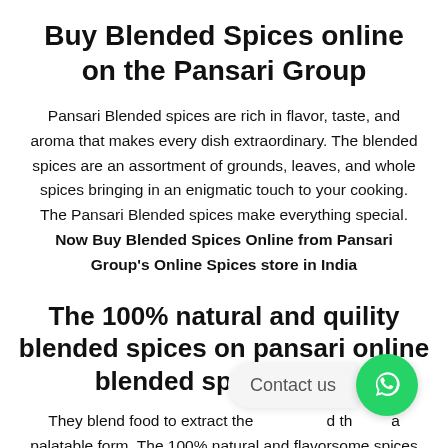Buy Blended Spices online on the Pansari Group
Pansari Blended spices are rich in flavor, taste, and aroma that makes every dish extraordinary. The blended spices are an assortment of grounds, leaves, and whole spices bringing in an enigmatic touch to your cooking. The Pansari Blended spices make everything special. Now Buy Blended Spices Online from Pansari Group's Online Spices store in India
The 100% natural and quility blended spices on pansari online blended spices store
They blend food to extract the [obscured] d th[obscured] a palatable form. The 100% natural and flavorsome spices are exquisitely balanced and uniformly blended. Pansari